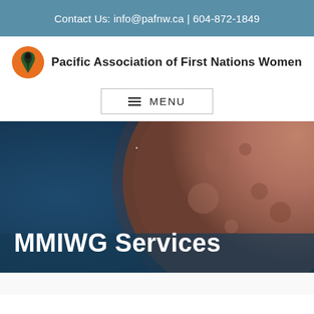Contact Us: info@pafnw.ca | 604-872-1849
[Figure (logo): Pacific Association of First Nations Women logo — circular icon with bird/woman silhouette in orange and green, alongside bold organization name text]
≡ MENU
[Figure (photo): Hero banner image showing a large reddish moon or planet against a deep blue sky background, with white bold text overlay reading 'MMIWG Services']
MMIWG Services